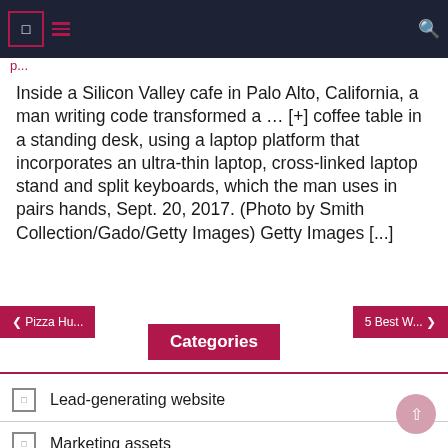Navigation bar with menu icon and search icon
p...
Inside a Silicon Valley cafe in Palo Alto, California, a man writing code transformed a ... [+] coffee table in a standing desk, using a laptop platform that incorporates an ultra-thin laptop, cross-linked laptop stand and split keyboards, which the man uses in pairs hands, Sept. 20, 2017. (Photo by Smith Collection/Gado/Getty Images) Getty Images [...]
❮ Pizza Hu...
5 Best W... ❯
Categories
Lead-generating website
Marketing assets
Web marketing